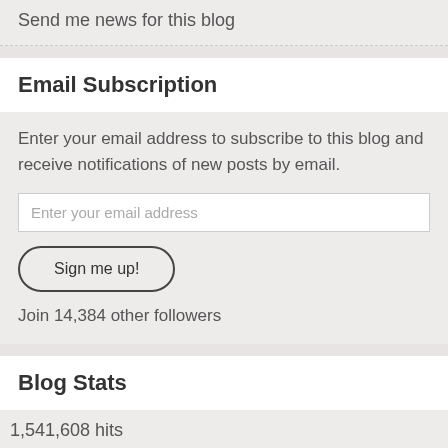Send me news for this blog
Email Subscription
Enter your email address to subscribe to this blog and receive notifications of new posts by email.
Enter your email address
Sign me up!
Join 14,384 other followers
Blog Stats
1,541,608 hits